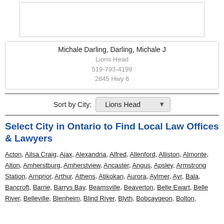[Figure (other): White box with border at top of page]
Michale Darling, Darling, Michale J
Lions Head
519-793-4199
2845 Hwy 6
Sort by City: Lions Head
Select City in Ontario to Find Local Law Offices & Lawyers
Acton, Ailsa Craig, Ajax, Alexandria, Alfred, Allenford, Alliston, Almonte, Alton, Amherstburg, Amherstview, Ancaster, Angus, Apsley, Armstrong Station, Arnprior, Arthur, Athens, Atikokan, Aurora, Aylmer, Ayr, Bala, Bancroft, Barrie, Barrys Bay, Beamsville, Beaverton, Belle Ewart, Belle River, Belleville, Blenheim, Blind River, Blyth, Bobcaygeon, Bolton,